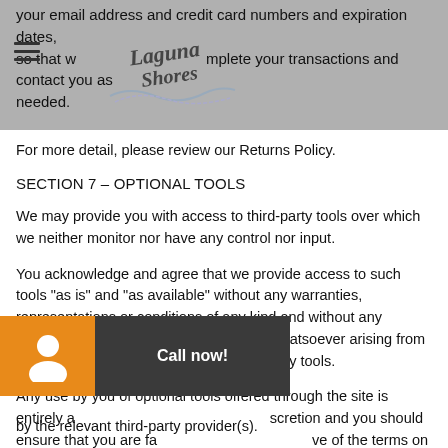your email address and credit card numbers and expiration dates, so that we complete your transactions and contact you as needed.
[Figure (logo): Laguna Shores script logo with decorative wave/swirl underneath]
For more detail, please review our Returns Policy.
SECTION 7 – OPTIONAL TOOLS
We may provide you with access to third-party tools over which we neither monitor nor have any control nor input.
You acknowledge and agree that we provide access to such tools "as is" and "as available" without any warranties, representations or conditions of any kind and without any endorsement. We shall have no liability whatsoever arising from or relating to your use of optional third-party tools.
Any use by you of optional tools offered through the site is entirely at your own discretion and you should ensure that you are familiar with and approve of the terms on which tools are provided by the relevant third-party provider(s).
[Figure (infographic): Call now button overlay with orange person icon box on left and dark gray 'Call now!' text box on right]